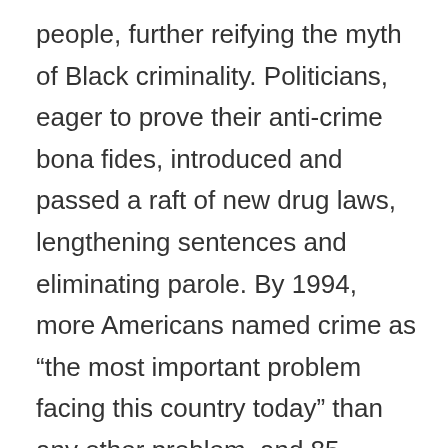people, further reifying the myth of Black criminality. Politicians, eager to prove their anti-crime bona fides, introduced and passed a raft of new drug laws, lengthening sentences and eliminating parole. By 1994, more Americans named crime as “the most important problem facing this country today” than any other problem, and 85 percent of the public thought courts were not harsh enough. That year a bipartisan Congress would pass and President Clinton would sign the Violent Crime Control and Law Enforcement Act, which